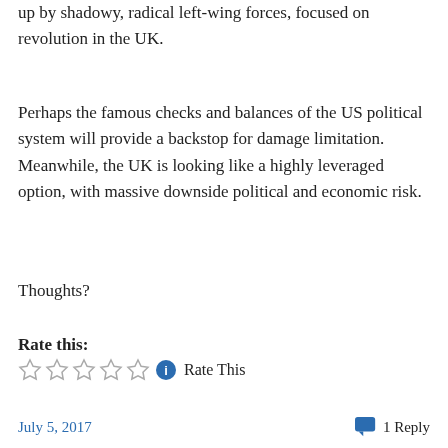up by shadowy, radical left-wing forces, focused on revolution in the UK.
Perhaps the famous checks and balances of the US political system will provide a backstop for damage limitation. Meanwhile, the UK is looking like a highly leveraged option, with massive downside political and economic risk.
Thoughts?
Rate this:
Rate This
July 5, 2017   1 Reply